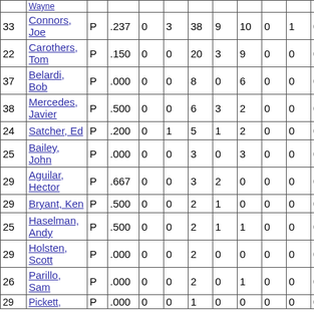| # | Name | Pos | Avg |  |  |  |  |  |  |  |  |
| --- | --- | --- | --- | --- | --- | --- | --- | --- | --- | --- | --- |
| 33 | Connors, Joe | P | .237 | 0 | 3 | 38 | 9 | 10 | 0 | 1 | 0 |
| 22 | Carothers, Tom | P | .150 | 0 | 0 | 20 | 3 | 9 | 0 | 0 | 0 |
| 37 | Belardi, Bob | P | .000 | 0 | 0 | 8 | 0 | 6 | 0 | 0 | 0 |
| 38 | Mercedes, Javier | P | .500 | 0 | 0 | 6 | 3 | 2 | 0 | 0 | 0 |
| 24 | Satcher, Ed | P | .200 | 0 | 1 | 5 | 1 | 2 | 0 | 0 | 0 |
| 25 | Bailey, John | P | .000 | 0 | 0 | 3 | 0 | 3 | 0 | 0 | 0 |
| 29 | Aguilar, Hector | P | .667 | 0 | 0 | 3 | 2 | 0 | 0 | 0 | 0 |
| 29 | Bryant, Ken | P | .500 | 0 | 0 | 2 | 1 | 0 | 0 | 0 | 0 |
| 25 | Haselman, Andy | P | .500 | 0 | 0 | 2 | 1 | 1 | 0 | 0 | 0 |
| 29 | Holsten, Scott | P | .000 | 0 | 0 | 2 | 0 | 0 | 0 | 0 | 0 |
| 26 | Parillo, Sam | P | .000 | 0 | 0 | 2 | 0 | 1 | 0 | 0 | 0 |
| 29 | Pickett, ... | P | .000 | 0 | 0 | 1 | 0 | 0 | 0 | 0 | 0 |